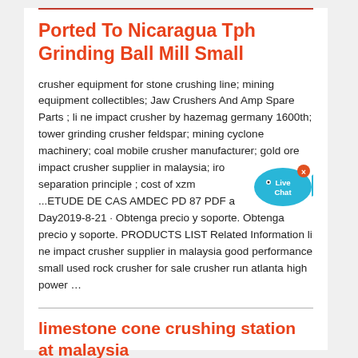Ported To Nicaragua Tph Grinding Ball Mill Small
crusher equipment for stone crushing line; mining equipment collectibles; Jaw Crushers And Amp Spare Parts ; li ne impact crusher by hazemag germany 1600th; tower grinding crusher feldspar; mining cyclone machinery; coal mobile crusher manufacturer; gold ore impact crusher supplier in malaysia; iro separation principle ; cost of xzm ...ETUDE DE CAS AMDEC PD 87 PDF a Day2019-8-21 · Obtenga precio y soporte. Obtenga precio y soporte. PRODUCTS LIST Related Information li ne impact crusher supplier in malaysia good performance small used rock crusher for sale crusher run atlanta high power …
limestone cone crushing station at malaysia